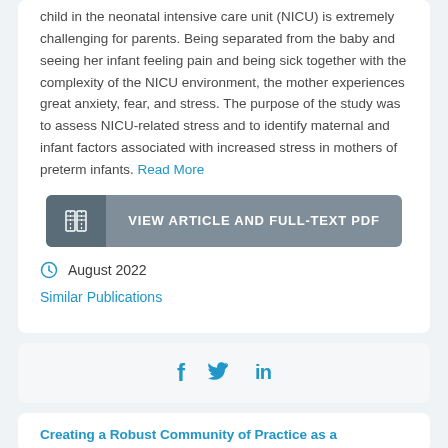child in the neonatal intensive care unit (NICU) is extremely challenging for parents. Being separated from the baby and seeing her infant feeling pain and being sick together with the complexity of the NICU environment, the mother experiences great anxiety, fear, and stress. The purpose of the study was to assess NICU-related stress and to identify maternal and infant factors associated with increased stress in mothers of preterm infants. Read More
[Figure (other): Button: VIEW ARTICLE AND FULL-TEXT PDF with book icon on left]
August 2022
Similar Publications
[Figure (other): Social sharing icons: Facebook (f), Twitter (bird), LinkedIn (in)]
Creating a Robust Community of Practice as a